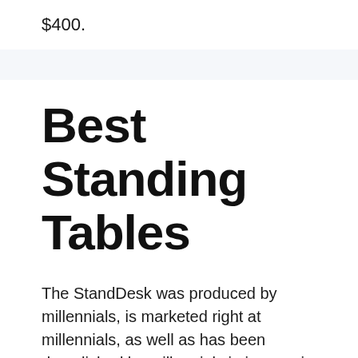$400.
Best Standing Tables
The StandDesk was produced by millennials, is marketed right at millennials, as well as has been demolished by millennials in impressive quantities. While it brings a ten-year warranty (the lengthiest of any Chinese-made base), in this case it’s not always a reputable sign of the expected beneficial life of the training columns. However, for the